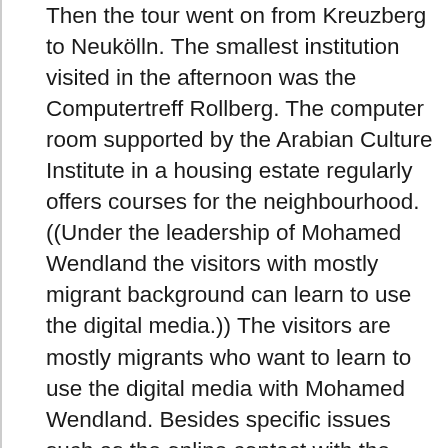Then the tour went on from Kreuzberg to Neukölln. The smallest institution visited in the afternoon was the Computertreff Rollberg. The computer room supported by the Arabian Culture Institute in a housing estate regularly offers courses for the neighbourhood. ((Under the leadership of Mohamed Wendland the visitors with mostly migrant background can learn to use the digital media.)) The visitors are mostly migrants who want to learn to use the digital media with Mohamed Wendland. Besides specific issues such as the online contact with the local government, the focus is on the cultural exchange in the neighbourhood. Finally, on Friday evening, the group landed on Planet Düppel, a youth institution in the district of Steglitz-Zehlendorf. Media pedagogue Tanya d'Agostino explained to the guests how important it is to offer the young people a combination of sports and computer use. The boys who were ardently playing a car race at the computer beforehand had to play basket ball in the